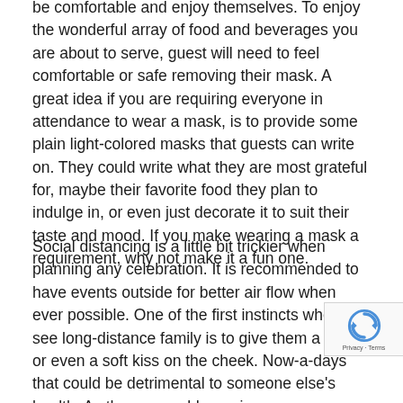be comfortable and enjoy themselves. To enjoy the wonderful array of food and beverages you are about to serve, guest will need to feel comfortable or safe removing their mask. A great idea if you are requiring everyone in attendance to wear a mask, is to provide some plain light-colored masks that guests can write on. They could write what they are most grateful for, maybe their favorite food they plan to indulge in, or even just decorate it to suit their taste and mood. If you make wearing a mask a requirement, why not make it a fun one.
Social distancing is a little bit trickier when planning any celebration. It is recommended to have events outside for better air flow when ever possible. One of the first instincts when you see long-distance family is to give them a hug, or even a soft kiss on the cheek. Now-a-days that could be detrimental to someone else's health. As those you older, or immune-compromised are at a greater risk whether they are vaccinated or not. To off-set the ai maybe a little symbol with shading in encourage the